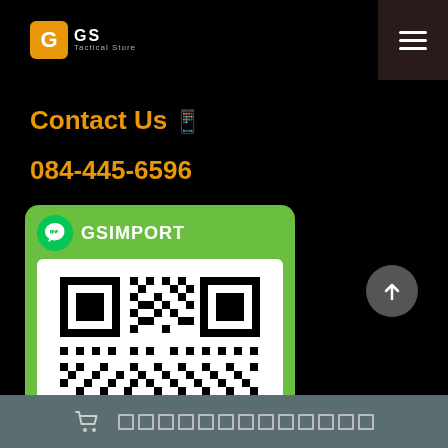GS Tactical Store
Contact Us 📱
084-445-6596
[Figure (other): LINE QR code card with LINE logo, username GSIMPORT, and a QR code for LINE contact on green background]
🛒 ตะกร้าสินค้า